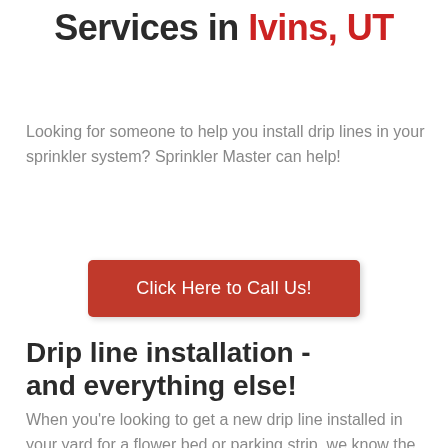Services in Ivins, UT
Looking for someone to help you install drip lines in your sprinkler system? Sprinkler Master can help!
[Figure (other): Red call-to-action button with text 'Click Here to Call Us!']
Drip line installation - and everything else!
When you're looking to get a new drip line installed in your yard for a flower bed or parking strip, we know the best and fastest way to do